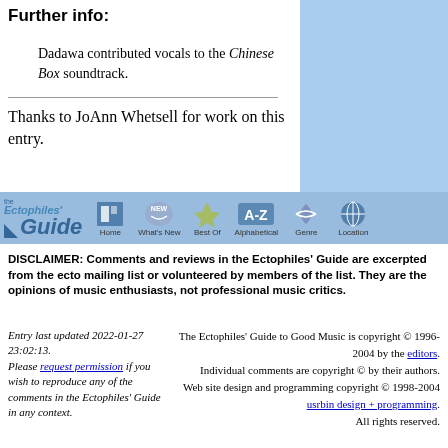Further info:
Dadawa contributed vocals to the Chinese Box soundtrack.
Thanks to JoAnn Whetsell for work on this entry.
[Figure (other): Ectophiles' Guide navigation bar with logo and nav items: Home, What's New, Best Of, Alphabetical, Genre, Location]
DISCLAIMER: Comments and reviews in the Ectophiles' Guide are excerpted from the ecto mailing list or volunteered by members of the list. They are the opinions of music enthusiasts, not professional music critics.
Entry last updated 2022-01-27 23:02:13. Please request permission if you wish to reproduce any of the comments in the Ectophiles' Guide in any context.
The Ectophiles' Guide to Good Music is copyright © 1996-2004 by the editors. Individual comments are copyright © by their authors. Web site design and programming copyright © 1998-2004 usrbin design + programming. All rights reserved.